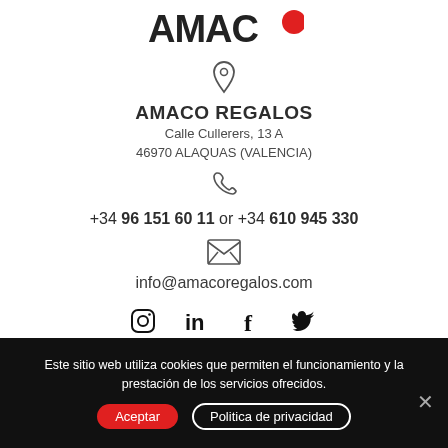[Figure (logo): AMAC logo with bold black letters and a red dot]
[Figure (other): Location pin icon (outline)]
AMACO REGALOS
Calle Cullerers, 13 A
46970 ALAQUAS (VALENCIA)
[Figure (other): Phone handset icon (outline)]
+34 96 151 60 11 or +34 610 945 330
[Figure (other): Envelope/email icon (outline)]
info@amacoregalos.com
[Figure (other): Social media icons: Instagram, LinkedIn, Facebook, Twitter]
Este sitio web utiliza cookies que permiten el funcionamiento y la prestación de los servicios ofrecidos.
Aceptar
Politica de privacidad